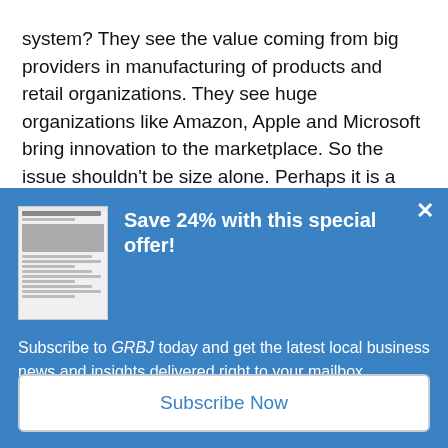system? They see the value coming from big providers in manufacturing of products and retail organizations. They see huge organizations like Amazon, Apple and Microsoft bring innovation to the marketplace. So the issue shouldn't be size alone. Perhaps it is a general distrust of government to do the expected job. However, agencies like Social Security, NASA, FBI and branches of the military all seem to do a
[Figure (screenshot): A modal/popup advertisement overlay on a blue background. It contains a newspaper thumbnail image on the left, a bold headline 'Save 24% with this special offer!' on the right, a close (X) button in the top-right corner, subscription text 'Subscribe to GRBJ today and get the latest local business news and insights delivered right to your mailbox.', and a 'Subscribe Now' button at the bottom.]